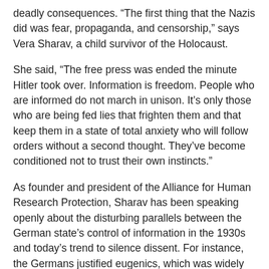deadly consequences. “The first thing that the Nazis did was fear, propaganda, and censorship,” says Vera Sharav, a child survivor of the Holocaust.
She said, “The free press was ended the minute Hitler took over. Information is freedom. People who are informed do not march in unison. It’s only those who are being fed lies that frighten them and that keep them in a state of total anxiety who will follow orders without a second thought. They’ve become conditioned not to trust their own instincts.”
As founder and president of the Alliance for Human Research Protection, Sharav has been speaking openly about the disturbing parallels between the German state’s control of information in the 1930s and today’s trend to silence dissent. For instance, the Germans justified eugenics, which was widely accepted among scientists even in the United States, by insisting that they were “following the science,” Sharav said.
We all need to rally behind the scientists, researchers, and doctors who are striking back. It is only with our support that